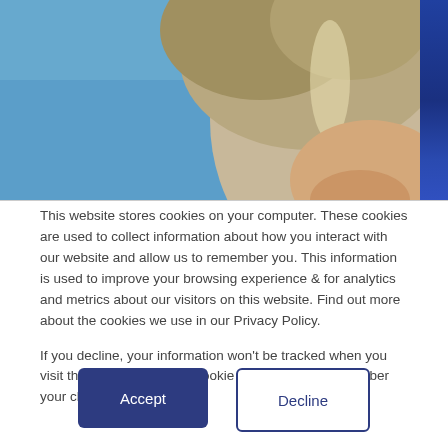[Figure (photo): Partial view of a person's head with light/grey hair against a blue sky background. Only the top of the head and partial face are visible.]
This website stores cookies on your computer. These cookies are used to collect information about how you interact with our website and allow us to remember you. This information is used to improve your browsing experience & for analytics and metrics about our visitors on this website. Find out more about the cookies we use in our Privacy Policy.
If you decline, your information won't be tracked when you visit this website. A single cookie will be used to remember your choice.